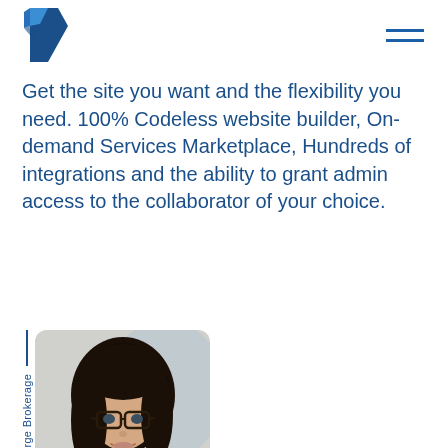Placester logo and navigation
Get the site you want and the flexibility you need. 100% Codeless website builder, On-demand Services Marketplace, Hundreds of integrations and the ability to grant admin access to the collaborator of your choice.
[Figure (photo): Portrait photo of a woman with dark hair and glasses, smiling, with a vertical label reading '— Large Brokerage' on the left side]